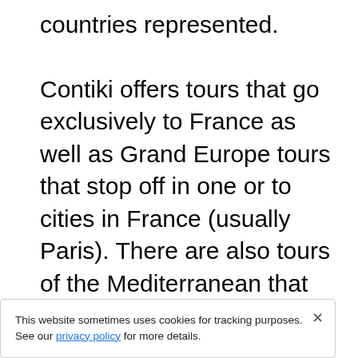world with more than 50 countries represented.

Contiki offers tours that go exclusively to France as well as Grand Europe tours that stop off in one or to cities in France (usually Paris). There are also tours of the Mediterranean that include France, Italy, and/or Spain. The trips can last anywhere from about a week to close to a month or more and prices are reasonable. If you're specifically interested in seeing Paris, there are tours that combine London and Paris, ...ide Rome or Amsterdam. ...about a week and a half. ...e experiences like Christmas or New Years in Paris...
This website sometimes uses cookies for tracking purposes. See our privacy policy for more details.